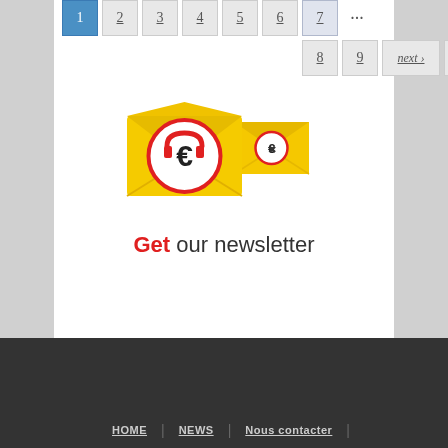[Figure (screenshot): Pagination navigation showing page buttons 1-9 with next and last links, page 1 highlighted in blue]
[Figure (illustration): Newsletter signup illustration: two yellow envelopes with a circular logo featuring a magnet icon, with text 'Get our newsletter']
HOME | NEWS | Nous contacter